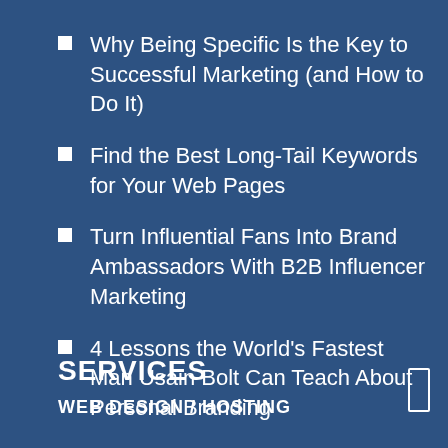Why Being Specific Is the Key to Successful Marketing (and How to Do It)
Find the Best Long-Tail Keywords for Your Web Pages
Turn Influential Fans Into Brand Ambassadors With B2B Influencer Marketing
4 Lessons the World's Fastest Man Usain Bolt Can Teach About Personal Branding
Weekend Favs August 20
SERVICES
WEB DESIGN / HOSTING